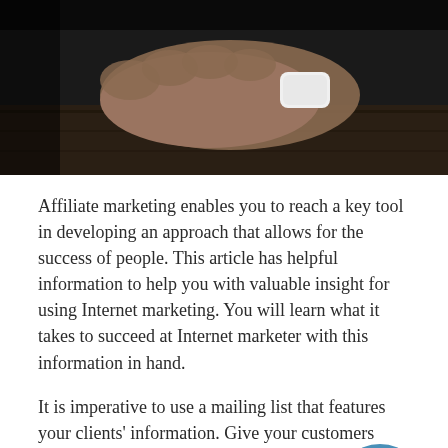[Figure (photo): Close-up photo of a person's hand/wrist wearing a white band or watch on a dark wooden surface, dark moody lighting]
Affiliate marketing enables you to reach a key tool in developing an approach that allows for the success of people. This article has helpful information to help you with valuable insight for using Internet marketing. You will learn what it takes to succeed at Internet marketer with this information in hand.
It is imperative to use a mailing list that features your clients' information. Give your customers several opportunities to leave their email address part of the ordering process.
Keep an eye on competitors and their tactics, and generate your own ideas from what you've learned